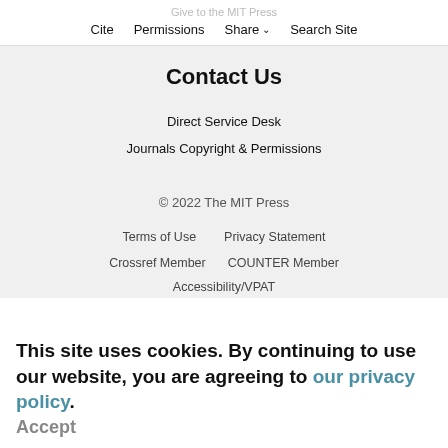Give to the MIT Press  Cite  Permissions  Share  Search Site
Contact Us
Direct Service Desk
Journals Copyright & Permissions
© 2022 The MIT Press
Terms of Use   Privacy Statement
Crossref Member   COUNTER Member
Accessibility/VPAT
This site uses cookies. By continuing to use our website, you are agreeing to our privacy policy. Accept